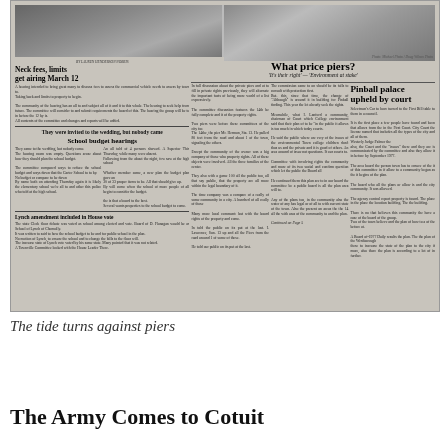[Figure (photo): Scanned newspaper page with multiple articles and photographs. Top section has two photographs. Articles include 'What price piers?', 'Neck fees, limits get airing March 12', 'School budget hearings', 'Lynch amendment included in House vote', and 'Pinball palace upheld by court'.]
The tide turns against piers
The Army Comes to Cotuit